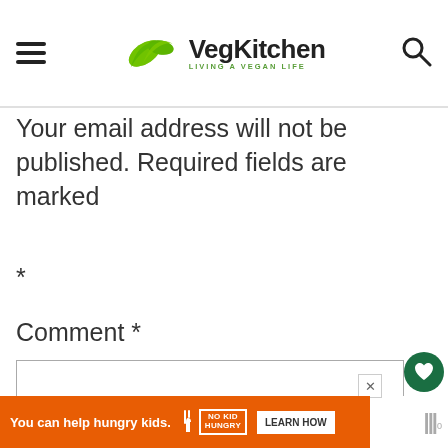VegKitchen — LIVING A VEGAN LIFE
Your email address will not be published. Required fields are marked *
Comment *
[Figure (screenshot): Orange advertisement banner: 'You can help hungry kids.' with No Kid Hungry logo and LEARN HOW button, with close X button above]